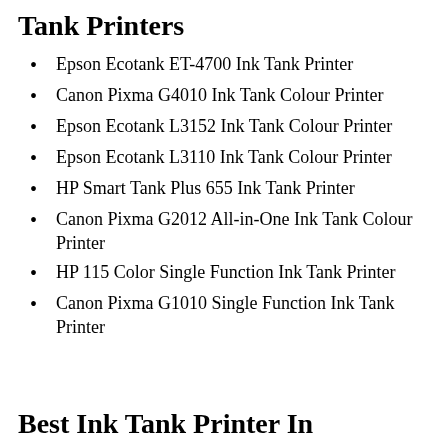Tank Printers
Epson Ecotank ET-4700 Ink Tank Printer
Canon Pixma G4010 Ink Tank Colour Printer
Epson Ecotank L3152 Ink Tank Colour Printer
Epson Ecotank L3110 Ink Tank Colour Printer
HP Smart Tank Plus 655 Ink Tank Printer
Canon Pixma G2012 All-in-One Ink Tank Colour Printer
HP 115 Color Single Function Ink Tank Printer
Canon Pixma G1010 Single Function Ink Tank Printer
Best Ink Tank Printer In